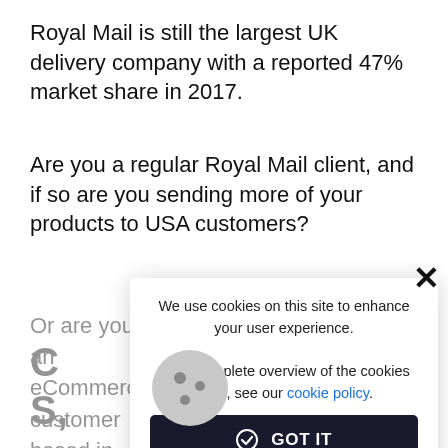Royal Mail is still the largest UK delivery company with a reported 47% market share in 2017.
Are you a regular Royal Mail client, and if so are you sending more of your products to USA customers?
Or are you an eCommerce customer based in th se th Fa
[Figure (screenshot): Cookie consent modal overlay with cookie icon, close X button, text about cookies, link to cookie policy, and GOT IT button]
C S,